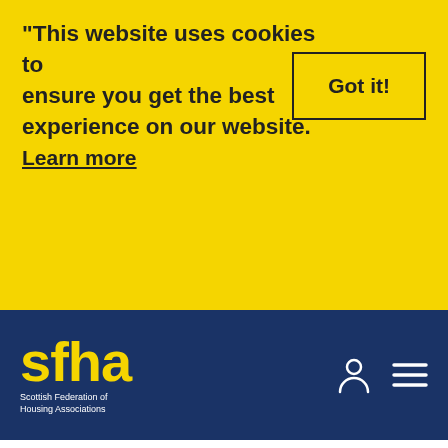This website uses cookies to ensure you get the best experience on our website. Learn more
Got it!
its culture and monitor Scotland's economy, innovative companies need access to strategic, patient finance to grow and thrive, while the business environment must encourage our young
[Figure (logo): SFHA - Scottish Federation of Housing Associations logo, yellow text on dark navy background]
for the economy.
“I thank Benny Higgins and the advisory group for their work to bring this aspiration a step closer. The Scottish Government will carefully consider his recommendations, as we move forward with the creation of the Scottish National Investment Bank.”
Benny Higgins said: